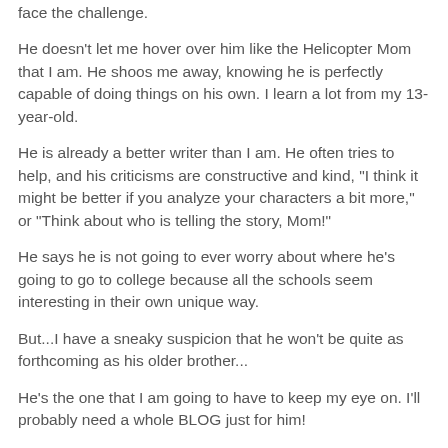face the challenge.
He doesn't let me hover over him like the Helicopter Mom that I am. He shoos me away, knowing he is perfectly capable of doing things on his own. I learn a lot from my 13-year-old.
He is already a better writer than I am. He often tries to help, and his criticisms are constructive and kind, "I think it might be better if you analyze your characters a bit more," or "Think about who is telling the story, Mom!"
He says he is not going to ever worry about where he's going to go to college because all the schools seem interesting in their own unique way.
But...I have a sneaky suspicion that he won't be quite as forthcoming as his older brother...
He's the one that I am going to have to keep my eye on. I'll probably need a whole BLOG just for him!